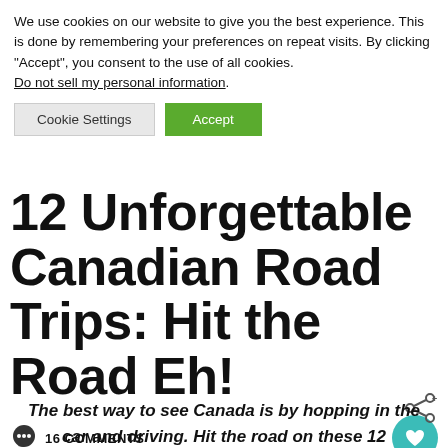We use cookies on our website to give you the best experience. This is done by remembering your preferences on repeat visits. By clicking “Accept”, you consent to the use of all cookies. Do not sell my personal information.
Cookie Settings | Accept
12 Unforgettable Canadian Road Trips: Hit the Road Eh!
16 COMMENTS
The best way to see Canada is by hopping in the car and driving. Hit the road on these 12 unforgettable Canadian Road Trips!